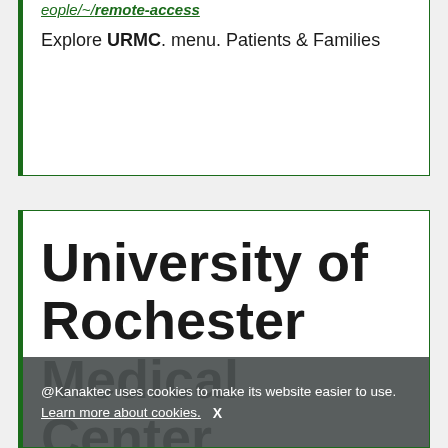eople/~/remote-access
Explore URMC. menu. Patients & Families
University of Rochester Medical Center
Welcome
@Kanaktec uses cookies to make its website easier to use. Learn more about cookies. X